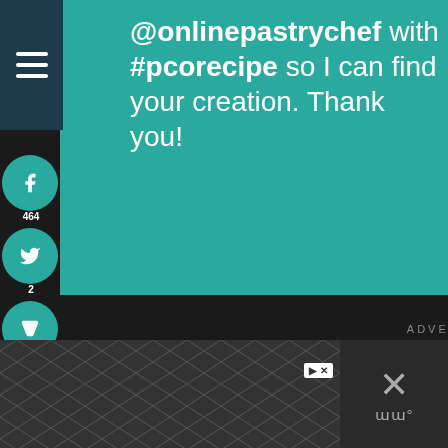@onlinepastrychef with #pcorecipe so I can find your creation. Thank you!
[Figure (screenshot): Social media share sidebar with teal circles: Facebook (464), Twitter (2), Pocket, Pinterest (1.4K), Yummly, Email]
ADVERTISEMENT
[Figure (screenshot): Dark advertisement block area]
160
[Figure (screenshot): Bottom banner advertisement with chevron geometric pattern and X close button]